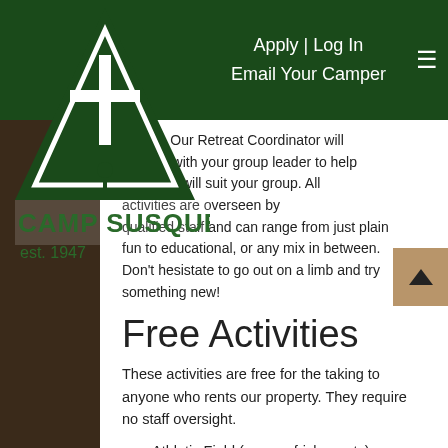Apply | Log In
Email Your Camper
[Figure (logo): Camp Susque logo - triangle with cross and figure, text 'CAMP SUSQUE est. 1947']
nships. Our Retreat Coordinator will closely with your group leader to help ities that will suit your group. All activities are overseen by qualified staff and can range from just plain fun to educational, or any mix in between. Don't hesistate to go out on a limb and try something new!
Free Activities
These activities are free for the taking to anyone who rents our property. They require no staff oversight.
Athletic Field (soccer, frisbee, etc)
Basketball (outside)
Volleyball (outside)
Horseshoes
Playground